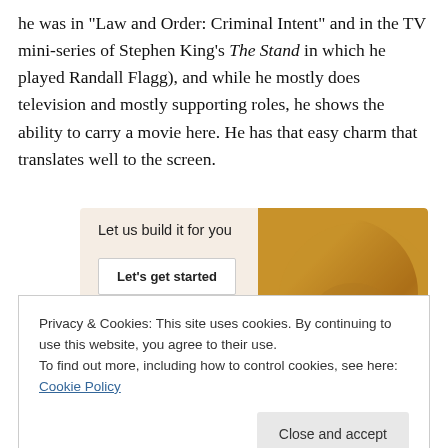he was in "Law and Order: Criminal Intent" and in the TV mini-series of Stephen King's The Stand in which he played Randall Flagg), and while he mostly does television and mostly supporting roles, he shows the ability to carry a movie here. He has that easy charm that translates well to the screen.
[Figure (other): Advertisement banner with beige background showing 'Let us build it for you' text, a 'Let's get started' button, and a circular image of hands holding a phone on the right side.]
Privacy & Cookies: This site uses cookies. By continuing to use this website, you agree to their use.
To find out more, including how to control cookies, see here: Cookie Policy
Close and accept